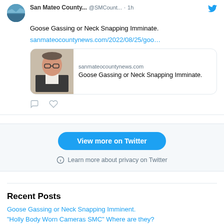[Figure (screenshot): Twitter/X embedded tweet from San Mateo County (@SMCount...) with text 'Goose Gassing or Neck Snapping Imminate.' and a link preview card showing sanmateocountynews.com with an article titled 'Goose Gassing or Neck Snapping Imminate.' with a photo of a man in a dark jacket and glasses]
View more on Twitter
Learn more about privacy on Twitter
Recent Posts
Goose Gassing or Neck Snapping Imminent.
"Holly Body Worn Cameras SMC" Where are they?